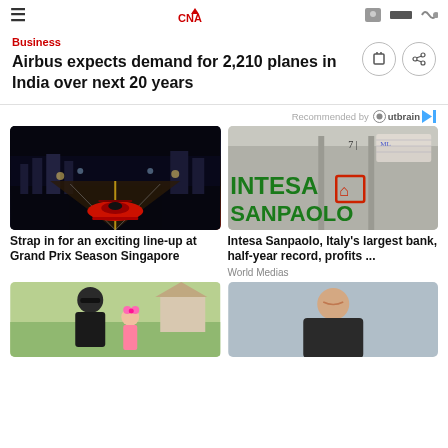CNA
Business
Airbus expects demand for 2,210 planes in India over next 20 years
Recommended by Outbrain
[Figure (photo): Formula 1 racing car on track at night with city lights in background]
Strap in for an exciting line-up at Grand Prix Season Singapore
[Figure (photo): Intesa Sanpaolo bank sign on building exterior]
Intesa Sanpaolo, Italy's largest bank, half-year record, profits ...
World Medias
[Figure (photo): Man with child outdoors]
[Figure (photo): Man in dark t-shirt against grey background]